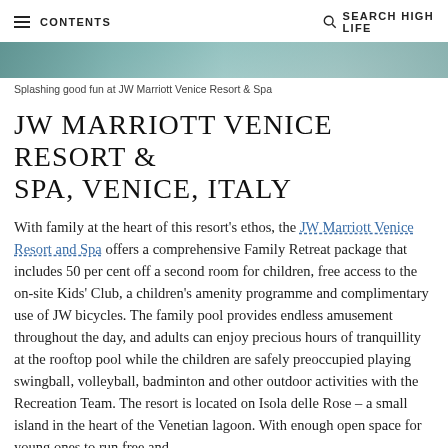CONTENTS | SEARCH HIGH LIFE
[Figure (photo): Aerial or wide shot of JW Marriott Venice Resort & Spa pool area with turquoise water]
Splashing good fun at JW Marriott Venice Resort & Spa
JW MARRIOTT VENICE RESORT & SPA, VENICE, ITALY
With family at the heart of this resort's ethos, the JW Marriott Venice Resort and Spa offers a comprehensive Family Retreat package that includes 50 per cent off a second room for children, free access to the on-site Kids' Club, a children's amenity programme and complimentary use of JW bicycles. The family pool provides endless amusement throughout the day, and adults can enjoy precious hours of tranquillity at the rooftop pool while the children are safely preoccupied playing swingball, volleyball, badminton and other outdoor activities with the Recreation Team. The resort is located on Isola delle Rose – a small island in the heart of the Venetian lagoon. With enough open space for young ones to run free and